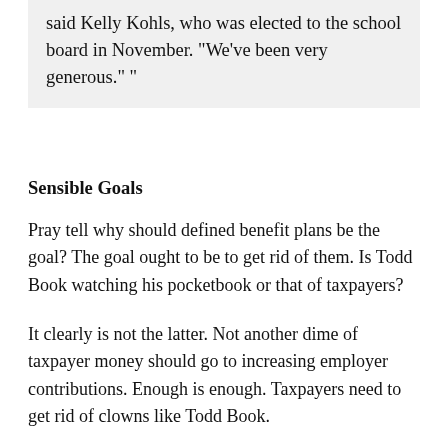said Kelly Kohls, who was elected to the school board in November. “We’ve been very generous.” “
Sensible Goals
Pray tell why should defined benefit plans be the goal? The goal ought to be to get rid of them. Is Todd Book watching his pocketbook or that of taxpayers?
It clearly is not the latter. Not another dime of taxpayer money should go to increasing employer contributions. Enough is enough. Taxpayers need to get rid of clowns like Todd Book.
Citizens of Ohio, dump Book.